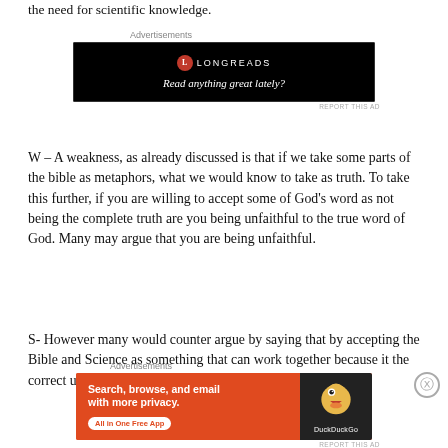the need for scientific knowledge.
[Figure (other): Longreads advertisement banner: black background with Longreads logo and tagline 'Read anything great lately?']
W – A weakness, as already discussed is that if we take some parts of the bible as metaphors, what we would know to take as truth. To take this further, if you are willing to accept some of God's word as not being the complete truth are you being unfaithful to the true word of God. Many may argue that you are being unfaithful.
S- However many would counter argue by saying that by accepting the Bible and Science as something that can work together because it the correct use of the
[Figure (other): DuckDuckGo advertisement: orange background with text 'Search, browse, and email with more privacy. All in One Free App' and DuckDuckGo logo on dark background.]